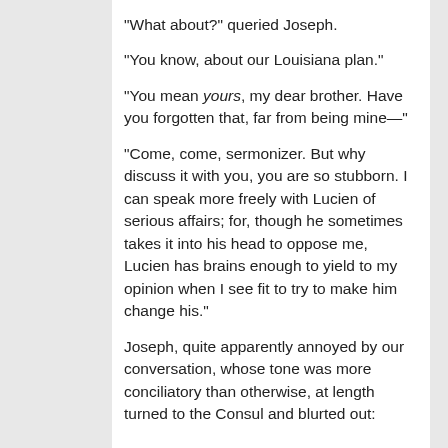"What about?" queried Joseph.
"You know, about our Louisiana plan."
"You mean yours, my dear brother. Have you forgotten that, far from being mine—"
"Come, come, sermonizer. But why discuss it with you, you are so stubborn. I can speak more freely with Lucien of serious affairs; for, though he sometimes takes it into his head to oppose me, Lucien has brains enough to yield to my opinion when I see fit to try to make him change his."
Joseph, quite apparently annoyed by our conversation, whose tone was more conciliatory than otherwise, at length turned to the Consul and blurted out: